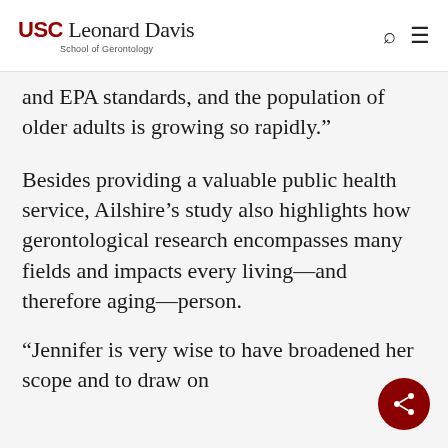USC Leonard Davis School of Gerontology
and EPA standards, and the population of older adults is growing so rapidly.”
Besides providing a valuable public health service, Ailshire’s study also highlights how gerontological research encompasses many fields and impacts every living—and therefore aging—person.
“Jennifer is very wise to have broadened her scope and to draw on